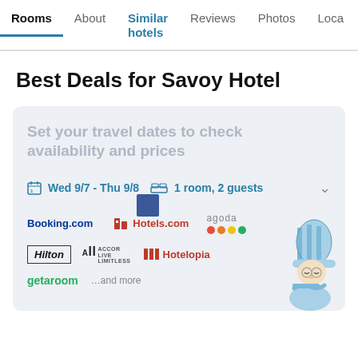Rooms | About | Similar hotels | Reviews | Photos | Loca...
Best Deals for Savoy Hotel
[Figure (screenshot): Hotel booking widget card with travel date search prompt showing 'Set your travel dates to check availability and prices', date selector 'Wed 9/7 - Thu 9/8', '1 room, 2 guests', and logos of Booking.com, Hotels.com, Agoda, Hilton, Accor Live Limitless, Hotelopia, getaroom, and a sleeping gnome mascot character.]